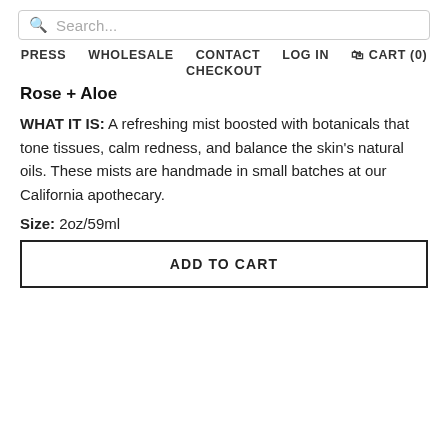Search...
PRESS  WHOLESALE  CONTACT  LOG IN  CART (0)  CHECKOUT
Rose + Aloe
WHAT IT IS: A refreshing mist boosted with botanicals that tone tissues, calm redness, and balance the skin's natural oils. These mists are handmade in small batches at our California apothecary.
Size:  2oz/59ml
ADD TO CART